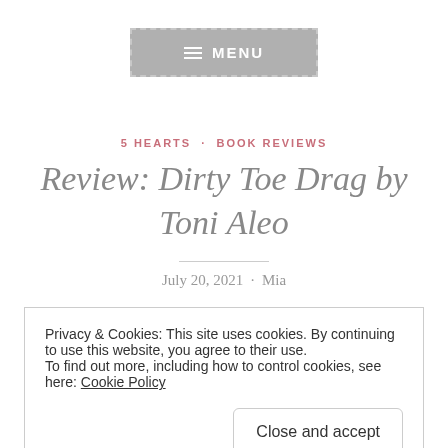[Figure (screenshot): Menu navigation button with hamburger icon and text MENU, gray background with dashed border]
5 HEARTS · BOOK REVIEWS
Review: Dirty Toe Drag by Toni Aleo
July 20, 2021 · Mia
Privacy & Cookies: This site uses cookies. By continuing to use this website, you agree to their use.
To find out more, including how to control cookies, see here: Cookie Policy
Close and accept
loved this book. Wes and Stella are just amazing but my